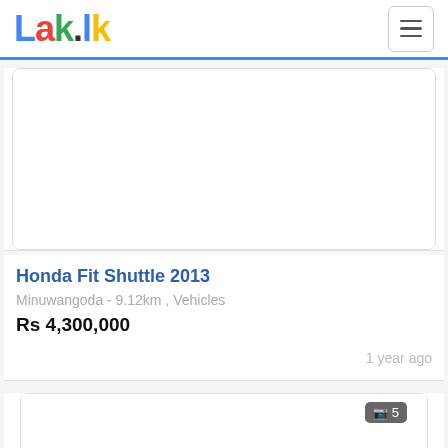[Figure (logo): Lak.lk website logo in Google-style multicolor letters]
Honda Fit Shuttle 2013
Minuwangoda - 9.12km , Vehicles
Rs 4,300,000
1 year ago
[Figure (photo): Second vehicle listing image placeholder with camera icon badge showing 5 photos]